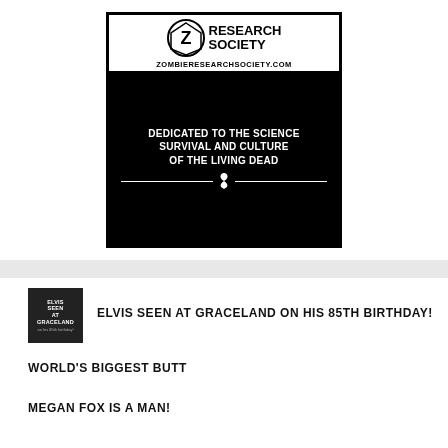[Figure (logo): Zombie Research Society advertisement: logo with stylized ZRS emblem, zombieresearchsociety.com URL, and black box reading 'DEDICATED TO THE SCIENCE SURVIVAL AND CULTURE OF THE LIVING DEAD' with awareness ribbon]
ELVIS SEEN AT GRACELAND ON HIS 85th BIRTHDAY!
WORLD'S BIGGEST BUTT
MEGAN FOX IS A MAN!